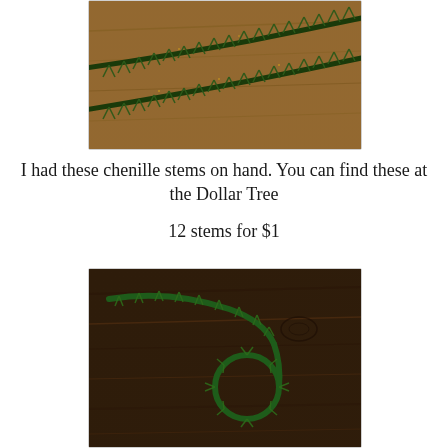[Figure (photo): Close-up photo of dark green chenille stems (pipe cleaners) on a wooden surface, showing the fuzzy texture of the stems]
I had these chenille stems on hand. You can find these at the Dollar Tree
12 stems for $1
[Figure (photo): Photo of a green chenille stem on a dark wooden surface, with one end formed into a small circular loop/ring shape]